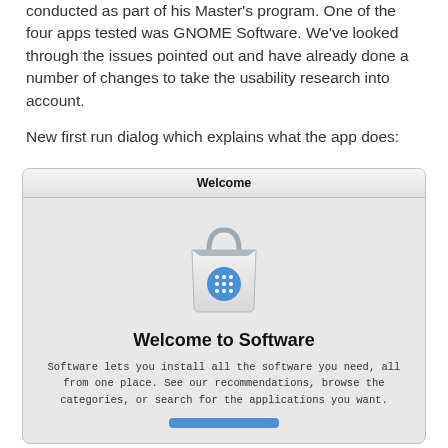conducted as part of his Master's program. One of the four apps tested was GNOME Software. We've looked through the issues pointed out and have already done a number of changes to take the usability research into account.
New first run dialog which explains what the app does:
[Figure (screenshot): A GNOME Software welcome dialog screenshot showing a shopping bag icon with a blue app grid badge, the title 'Welcome to Software', descriptive text, and a 'Get Started' button.]